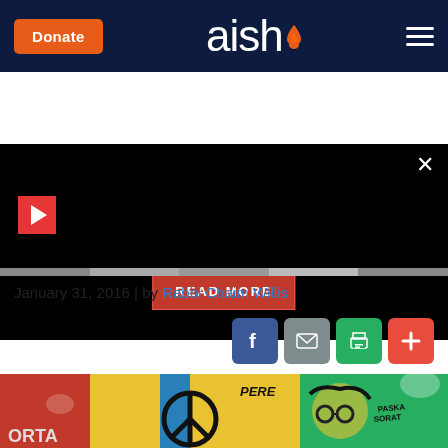aish.com website header with Donate button and hamburger menu
[Figure (screenshot): Black video/ad area with play button, close X button, and READ MORE button]
January 31, 2016 | by Rabbi Chaim Willis
[Figure (infographic): Social sharing icons: Facebook (blue), Email (gray), Print (green), Plus/More (red)]
[Figure (photo): Colorful graffiti artwork depicting a face with round glasses and peace symbol, with text PERE and PASKA SORAT visible, on a wall with vibrant red, yellow, green, blue colors]